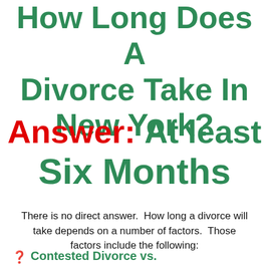How Long Does A Divorce Take In New York?
Answer: At least Six Months
There is no direct answer.  How long a divorce will take depends on a number of factors.  Those factors include the following:
Contested Divorce vs.